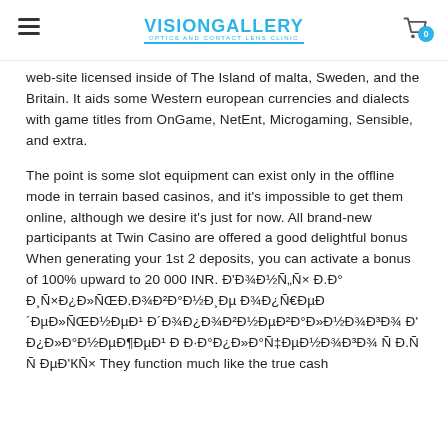VISIONGALLERY — Optics And Contact Lens Clinic
web-site licensed inside of The Island of malta, Sweden, and the Britain. It aids some Western european currencies and dialects with game titles from OnGame, NetEnt, Microgaming, Sensible, and extra.
The point is some slot equipment can exist only in the offline mode in terrain based casinos, and it's impossible to get them online, although we desire it's just for now. All brand-new participants at Twin Casino are offered a good delightful bonus When generating your 1st 2 deposits, you can activate a bonus of 100% upward to 20 000 INR. Đ'Đ¾Đ½Ñ„Ñ× Đ.Đ° Đ¸Ñ×Đ¿Đ»ÑŒĐ.Đ¾Đ²Đ°Đ½Đ¸Đµ Đ¾Đ¿Ñ€ĐµĐ´ Đ´ĐµĐ»Đ½Đ¾Đ½Đ¾Đ¼Đ¾Đ¼Đ¾Đ½Đ¾Đ¼Đ¾Đ' Đ¿Đ»Đ°Đ½Đ¸Đ¶Đ°Đ½Đ¸Đ¹Đ¾Đ³Đ°Đ´Đ° Đ¿Đ»Đ°Đ½Đ°Đ½Đ¸Đ¹Đ° Ñ Đ.Ñ Ñ ĐµĐ'КÑ× They function much like the true cash